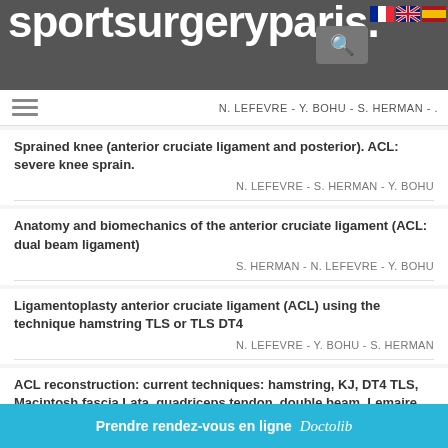[Figure (screenshot): Sport Surgery Paris website header with grey background and white logo text, search icon, and language flags]
N. LEFEVRE - Y. BOHU - S. HERMAN - .
Sprained knee (anterior cruciate ligament and posterior). ACL: severe knee sprain.
N. LEFEVRE - S. HERMAN - Y. BOHU
Anatomy and biomechanics of the anterior cruciate ligament (ACL: dual beam ligament)
S. HERMAN - N. LEFEVRE - Y. BOHU
Ligamentoplasty anterior cruciate ligament (ACL) using the technique hamstring TLS or TLS DT4
N. LEFEVRE - Y. BOHU - S. HERMAN
ACL reconstruction: current techniques: hamstring, KJ, DT4 TLS, Macintosh fascia Lata, quadriceps tendon, double beam, Lemaire, partial rupture, navigation, allograft
N. LEFEVRE - Y. BOHU - S. HERMAN
Ã "SOS KNEE Ã» What to do in...
Prendre rendez-vous en ligne Doctolib